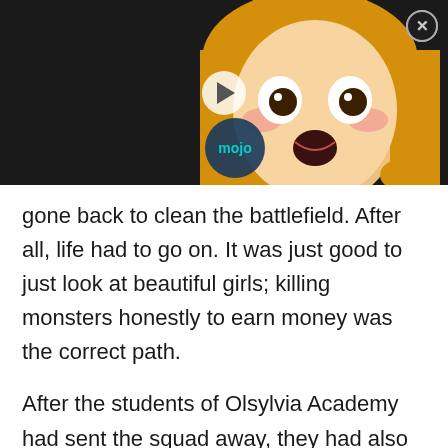[Figure (screenshot): Anime-style illustration of a blonde girl with wide open eyes and open mouth showing a surprised expression. A circular 'mojo' watermark logo appears in teal/blue in the lower left of the image. A white play button icon is overlaid in the center. A close (X) button is in the upper right corner. Background is dark/black.]
gone back to clean the battlefield. After all, life had to go on. It was just good to just look at beautiful girls; killing monsters honestly to earn money was the correct path.
After the students of Olsylvia Academy had sent the squad away, they had also gone back to school. Bella and the few people had killed more than half of the rock puppets over here. The rest of the...